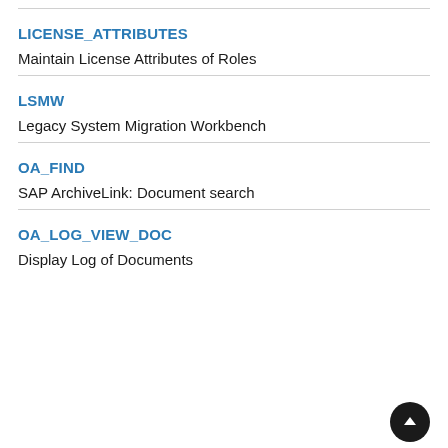LICENSE_ATTRIBUTES
Maintain License Attributes of Roles
LSMW
Legacy System Migration Workbench
OA_FIND
SAP ArchiveLink: Document search
OA_LOG_VIEW_DOC
Display Log of Documents